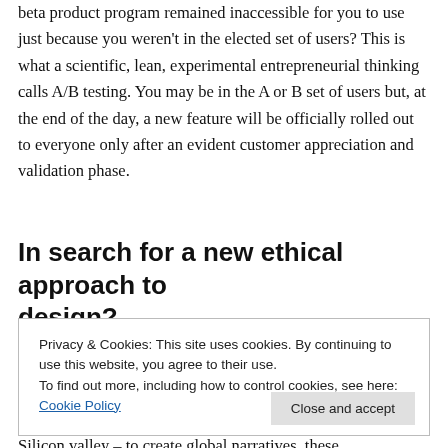beta product program remained inaccessible for you to use just because you weren't in the elected set of users? This is what a scientific, lean, experimental entrepreneurial thinking calls A/B testing. You may be in the A or B set of users but, at the end of the day, a new feature will be officially rolled out to everyone only after an evident customer appreciation and validation phase.
In search for a new ethical approach to design?
Privacy & Cookies: This site uses cookies. By continuing to use this website, you agree to their use. To find out more, including how to control cookies, see here: Cookie Policy
Silicon valley – to create global narratives, these